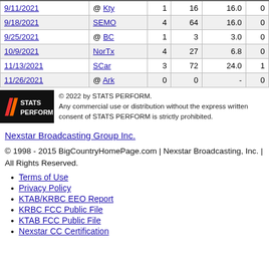| Date | Opponent |  |  |  |  |
| --- | --- | --- | --- | --- | --- |
| 9/11/2021 | @ Kty | 1 | 16 | 16.0 | 0 |
| 9/18/2021 | SEMO | 4 | 64 | 16.0 | 0 |
| 9/25/2021 | @ BC | 1 | 3 | 3.0 | 0 |
| 10/9/2021 | NorTx | 4 | 27 | 6.8 | 0 |
| 11/13/2021 | SCar | 3 | 72 | 24.0 | 1 |
| 11/26/2021 | @ Ark | 0 | 0 | - | 0 |
[Figure (logo): STATS PERFORM logo on black background]
© 2022 by STATS PERFORM. Any commercial use or distribution without the express written consent of STATS PERFORM is strictly prohibited.
Nexstar Broadcasting Group Inc.
© 1998 - 2015 BigCountryHomePage.com | Nexstar Broadcasting, Inc. | All Rights Reserved.
Terms of Use
Privacy Policy
KTAB/KRBC EEO Report
KRBC FCC Public File
KTAB FCC Public File
Nexstar CC Certification